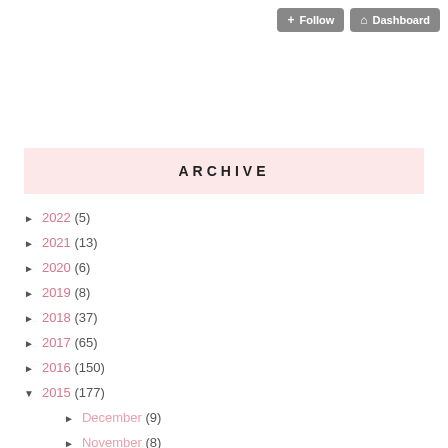+ Follow   Dashboard
ARCHIVE
► 2022 (5)
► 2021 (13)
► 2020 (6)
► 2019 (8)
► 2018 (37)
► 2017 (65)
► 2016 (150)
▼ 2015 (177)
► December (9)
► November (8)